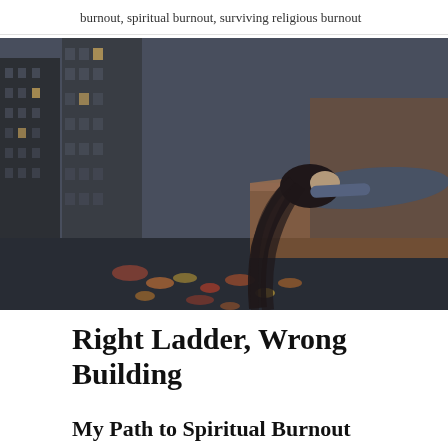burnout, spiritual burnout, surviving religious burnout
[Figure (photo): A woman with long dark hair lying exhausted on a rooftop ledge overlooking a busy city street with tall buildings and blurred traffic lights below.]
Right Ladder, Wrong Building
My Path to Spiritual Burnout